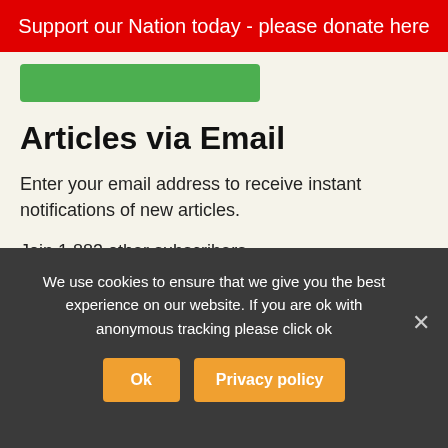Support our Nation today - please donate here
[Figure (other): Green button stub partially visible]
Articles via Email
Enter your email address to receive instant notifications of new articles.
Join 1,883 other subscribers.
Email Address
Subscribe
We use cookies to ensure that we give you the best experience on our website. If you are ok with anonymous tracking please click ok
Ok
Privacy policy